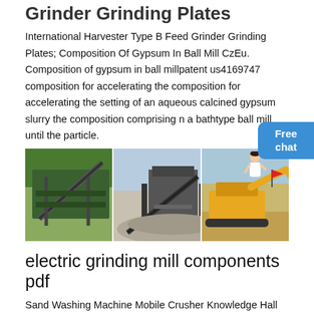Grinder Grinding Plates
International Harvester Type B Feed Grinder Grinding Plates; Composition Of Gypsum In Ball Mill CzEu. Composition of gypsum in ball millpatent us4169747 composition for accelerating the composition for accelerating the setting of an aqueous calcined gypsum slurry the composition comprising n a bathtype ball mill until the particle.
[Figure (photo): Three side-by-side photographs of industrial mining/crushing equipment: conveyor belt and screening equipment in a green forested area, a large rock crushing plant with aggregate pile, and yellow heavy machinery in a sandy/dusty outdoor setting.]
electric grinding mill components pdf
Sand Washing Machine Mobile Crusher Knowledge Hall Crushers FAQ Grinding Mills FAQ Mining Equipments Solution Stone Crushing Sand Making Ore Processing Grinding Plant Construction Building Materials Home > Grinding > electric grinding mill components pdf. electric grinding mill components pdf. Amazon: Trudeau Graviti Battery-Operated Electric